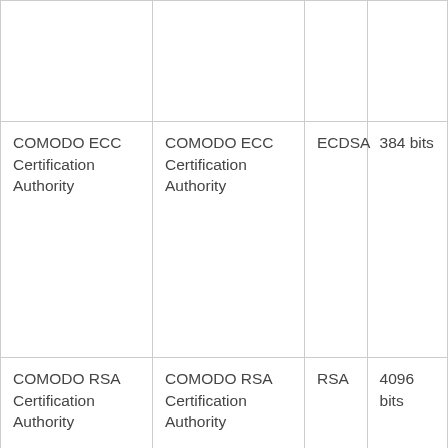|  |  |  |  |
| COMODO ECC Certification Authority | COMODO ECC Certification Authority | ECDSA | 384 bits |
| COMODO RSA Certification Authority | COMODO RSA Certification Authority | RSA | 4096 bits |